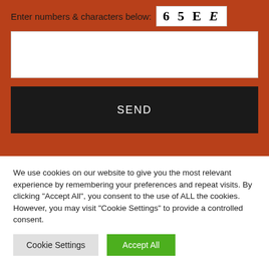Enter numbers & characters below: 6 5 E E
[Figure (other): Text input box for CAPTCHA entry]
SEND
We use cookies on our website to give you the most relevant experience by remembering your preferences and repeat visits. By clicking "Accept All", you consent to the use of ALL the cookies. However, you may visit "Cookie Settings" to provide a controlled consent.
Cookie Settings
Accept All